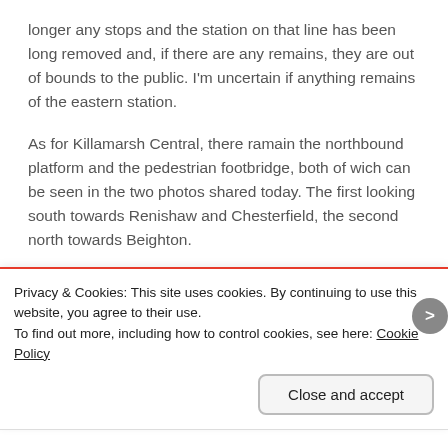longer any stops and the station on that line has been long removed and, if there are any remains, they are out of bounds to the public. I'm uncertain if anything remains of the eastern station.
As for Killamarsh Central, there ramain the northbound platform and the pedestrian footbridge, both of wich can be seen in the two photos shared today. The first looking south towards Renishaw and Chesterfield, the second north towards Beighton.
[Figure (photo): Partial view of a photograph visible at the top edge of the cookie banner area]
Privacy & Cookies: This site uses cookies. By continuing to use this website, you agree to their use.
To find out more, including how to control cookies, see here: Cookie Policy